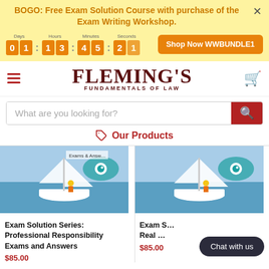BOGO: Free Exam Solution Course with purchase of the Exam Writing Workshop.
[Figure (screenshot): Countdown timer showing 01:13:45:21 (Days, Hours, Minutes, Seconds) with orange digit boxes on yellow background, and orange 'Shop Now WWBUNDLE1' button]
[Figure (logo): Fleming's Fundamentals of Law logo in dark red serif font]
What are you looking for?
Our Products
Exam Solution Series: Professional Responsibility Exams and Answers
$85.00
Exam S... Real ...
$85.00
Chat with us